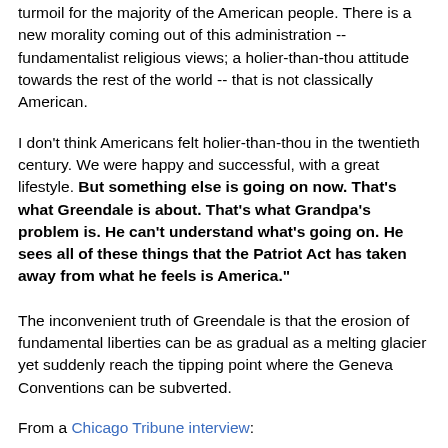turmoil for the majority of the American people. There is a new morality coming out of this administration -- fundamentalist religious views; a holier-than-thou attitude towards the rest of the world -- that is not classically American.
I don't think Americans felt holier-than-thou in the twentieth century. We were happy and successful, with a great lifestyle. But something else is going on now. That's what Greendale is about. That's what Grandpa's problem is. He can't understand what's going on. He sees all of these things that the Patriot Act has taken away from what he feels is America."
The inconvenient truth of Greendale is that the erosion of fundamental liberties can be as gradual as a melting glacier yet suddenly reach the tipping point where the Geneva Conventions can be subverted.
From a Chicago Tribune interview: